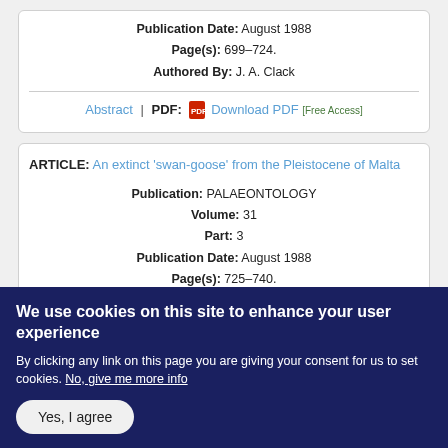Publication Date: August 1988
Page(s): 699–724.
Authored By: J. A. Clack
Abstract | PDF: Download PDF [Free Access]
ARTICLE: An extinct 'swan-goose' from the Pleistocene of Malta
Publication: PALAEONTOLOGY
Volume: 31
Part: 3
Publication Date: August 1988
Page(s): 725–740.
Authored By: E. Marjorie Northcote
We use cookies on this site to enhance your user experience
By clicking any link on this page you are giving your consent for us to set cookies. No, give me more info
Yes, I agree